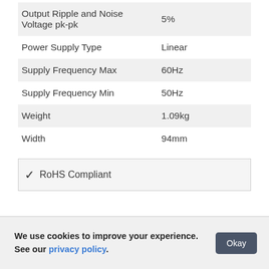| Property | Value |
| --- | --- |
| Output Ripple and Noise Voltage pk-pk | 5% |
| Power Supply Type | Linear |
| Supply Frequency Max | 60Hz |
| Supply Frequency Min | 50Hz |
| Weight | 1.09kg |
| Width | 94mm |
✔ RoHS Compliant
We use cookies to improve your experience. See our privacy policy.